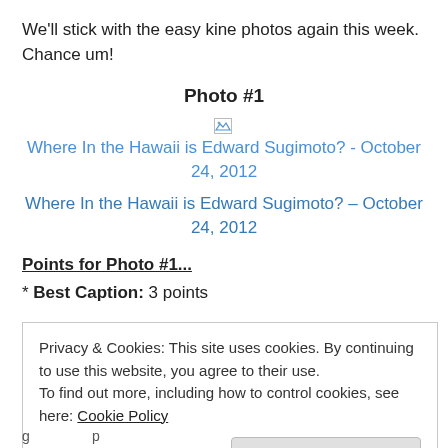We'll stick with the easy kine photos again this week. Chance um!
Photo #1
[Figure (photo): Broken image with alt text: Where In the Hawaii is Edward Sugimoto? - October 24, 2012]
Where In the Hawaii is Edward Sugimoto? – October 24, 2012
Points for Photo #1...
* Best Caption: 3 points
Privacy & Cookies: This site uses cookies. By continuing to use this website, you agree to their use.
To find out more, including how to control cookies, see here: Cookie Policy
Close and accept